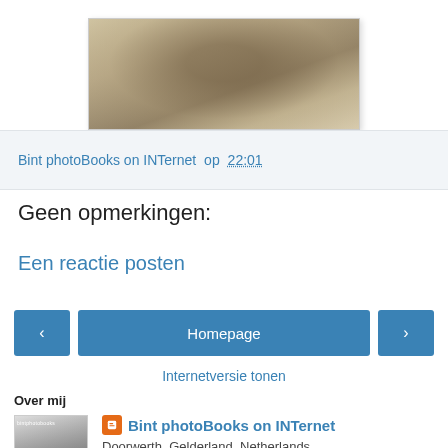[Figure (photo): Sepia-toned historical photograph of a person or scene in a snowy or outdoor setting]
Bint photoBooks on INTernet op 22:01
Geen opmerkingen:
Een reactie posten
< Homepage > Internetversie tonen
Over mij
[Figure (photo): Black and white profile photo thumbnail with text bintphotobooks]
Bint photoBooks on INTernet
Doorwerth, Gelderland, Netherlands
...Photography is the visual medium of the modern world. As a means of recording, and as an art form in its own, it